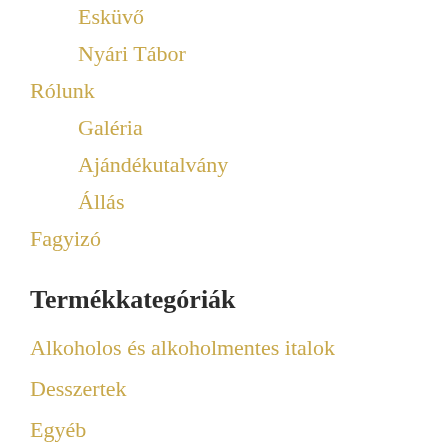Esküvő
Nyári Tábor
Rólunk
Galéria
Ajándékutalvány
Állás
Fagyizó
Termékkategóriák
Alkoholos és alkoholmentes italok
Desszertek
Egyéb
Előételek